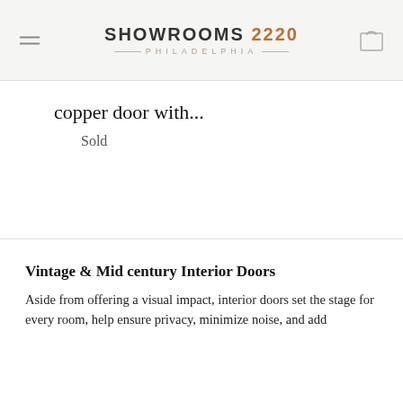SHOWROOMS 2220 PHILADELPHIA
copper door with...
Sold
Vintage & Mid century Interior Doors
Aside from offering a visual impact, interior doors set the stage for every room, help ensure privacy, minimize noise, and add